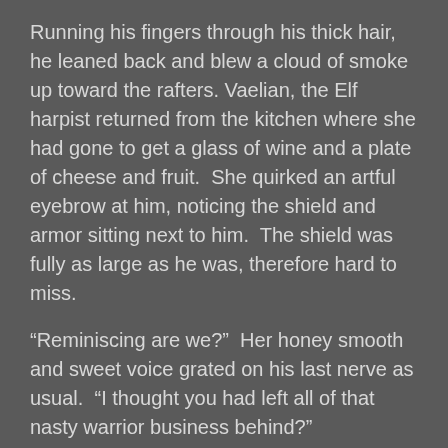Running his fingers through his thick hair, he leaned back and blew a cloud of smoke up toward the rafters. Vaelian, the Elf harpist returned from the kitchen where she had gone to get a glass of wine and a plate of cheese and fruit.  She quirked an artful eyebrow at him, noticing the shield and armor sitting next to him.  The shield was fully as large as he was, therefore hard to miss.
“Reminiscing are we?”  Her honey smooth and sweet voice grated on his last nerve as usual.  “I thought you had left all of that nasty warrior business behind?”
“Sometimes the past catches up with you, even if you try to avoid it.”  He responded, “At least they have respected my wishes in some ways.”
“I…